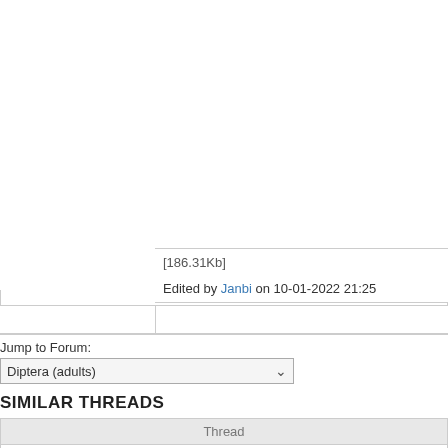[186.31Kb]
Edited by Janbi on 10-01-2022 21:25
Jump to Forum:
Diptera (adults)
SIMILAR THREADS
| Thread |
| --- |
| Thereva spec. => Thereva handlirschi |
| Greyisch - blackish Asilidae-species? |
| Tachinidae but which species? => Estheria cristata |